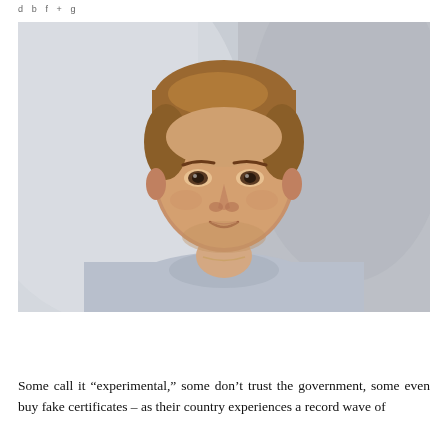d b f + g
[Figure (photo): Portrait photo of a young man with short blonde/auburn hair wearing a light blue-grey crew neck sweater, photographed against a plain light grey/white background, looking directly at camera with a neutral expression.]
Some call it “experimental,” some don’t trust the government, some even buy fake certificates – as their country experiences a record wave of